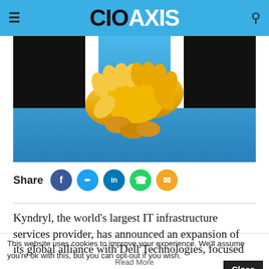CIO AXIS
[Figure (illustration): Two cartoon-style hands shaking (golden/yellow emoji-style handshake) against a blue gradient background, with black suit cuffs and white shirt cuffs visible on each side.]
Share
Kyndryl, the world's largest IT infrastructure services provider, has announced an expansion of its global alliance with Dell Technologies, focused
This website uses cookies to improve your experience. We'll assume you're ok with this, but you can opt-out if you wish.
Close
Read More